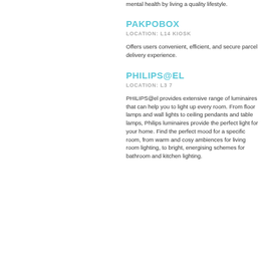mental health by living a quality lifestyle.
PAKPOBOX
LOCATION: L14 KIOSK
Offers users convenient, efficient, and secure parcel delivery experience.
PHILIPS@EL
LOCATION: L3 7
PHILIPS@el provides extensive range of luminaires that can help you to light up every room. From floor lamps and wall lights to ceiling pendants and table lamps, Philips luminaires provide the perfect light for your home. Find the perfect mood for a specific room, from warm and cosy ambiences for living room lighting, to bright, energising schemes for bathroom and kitchen lighting.